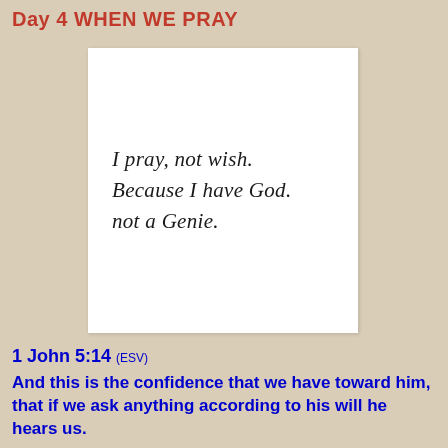Day 4 WHEN WE PRAY
[Figure (illustration): White card/image with handwritten-style text reading: I pray, not wish. Because I have God. not a Genie.]
1 John 5:14 (ESV)
And this is the confidence that we have toward him, that if we ask anything according to his will he hears us.